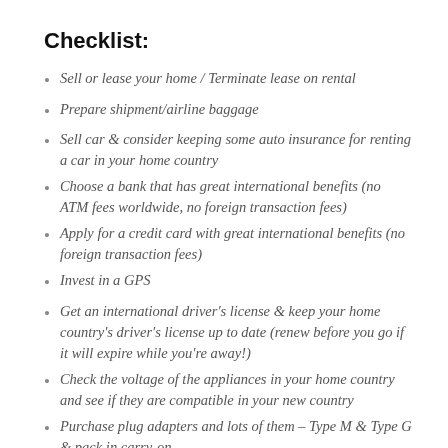Checklist:
Sell or lease your home / Terminate lease on rental
Prepare shipment/airline baggage
Sell car & consider keeping some auto insurance for renting a car in your home country
Choose a bank that has great international benefits (no ATM fees worldwide, no foreign transaction fees)
Apply for a credit card with great international benefits (no foreign transaction fees)
Invest in a GPS
Get an international driver's license & keep your home country's driver's license up to date (renew before you go if it will expire while you're away!)
Check the voltage of the appliances in your home country and see if they are compatible in your new country
Purchase plug adapters and lots of them – Type M & Type G & pack in carry-on
Purchase step-down transformer & send in shipment (if applicable)
Update your will, power of attorney, change your